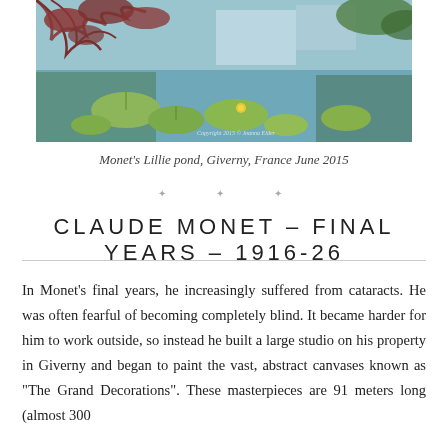[Figure (photo): A water lily pond with lily pads in foreground, reddish tree branches hanging from upper left, and reflections of trees and sky in the water. Copyright watermark reads 'Copyright 2015 © Joanna Elder'.]
Monet's Lillie pond, Giverny, France June 2015
✦ ✦ ✦
CLAUDE MONET – FINAL YEARS – 1916-26
In Monet's final years, he increasingly suffered from cataracts. He was often fearful of becoming completely blind. It became harder for him to work outside, so instead he built a large studio on his property in Giverny and began to paint the vast, abstract canvases known as "The Grand Decorations". These masterpieces are 91 meters long (almost 300